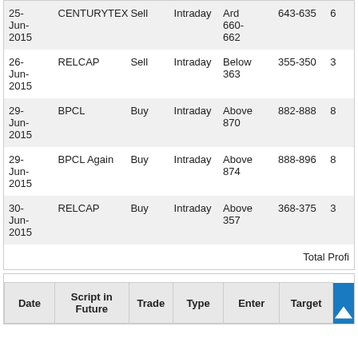| Date | Script in Future | Trade | Type | Enter | Target |  |
| --- | --- | --- | --- | --- | --- | --- |
| 25-Jun-2015 | CENTURYTEX | Sell | Intraday | Ard 660-662 | 643-635 | 6 |
| 26-Jun-2015 | RELCAP | Sell | Intraday | Below 363 | 355-350 | 3 |
| 29-Jun-2015 | BPCL | Buy | Intraday | Above 870 | 882-888 | 8 |
| 29-Jun-2015 | BPCL Again | Buy | Intraday | Above 874 | 888-896 | 8 |
| 30-Jun-2015 | RELCAP | Buy | Intraday | Above 357 | 368-375 | 3 |
|  |  |  |  |  | Total Profi |  |
| Date | Script in Future | Trade | Type | Enter | Target |  |
| --- | --- | --- | --- | --- | --- | --- |